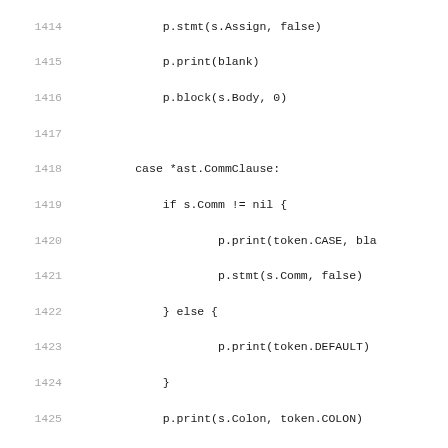Source code listing lines 1414-1435 showing Go-like programming language code with case statements for CommClause and SelectStmt handling